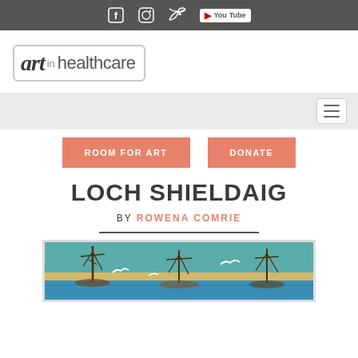Social media icons: Facebook, Instagram, Twitter, YouTube
[Figure (logo): Art in Healthcare logo with decorative frame border]
[Figure (screenshot): Navigation bar with hamburger menu icon]
ROOM FOR ART
DONATE
LOCH SHIELDAIG
BY ROWENA COMRIE
[Figure (photo): Painting of Loch Shieldaig by Rowena Comrie showing boats on water with teal background and sandy shore]